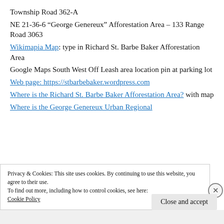Township Road 362-A
NE 21-36-6 “George Genereux” Afforestation Area – 133 Range Road 3063
Wikimapia Map: type in Richard St. Barbe Baker Afforestation Area
Google Maps South West Off Leash area location pin at parking lot
Web page: https://stbarbebaker.wordpress.com
Where is the Richard St. Barbe Baker Afforestation Area? with map
Where is the George Genereux Urban Regional
Privacy & Cookies: This site uses cookies. By continuing to use this website, you agree to their use.
To find out more, including how to control cookies, see here: Cookie Policy
Close and accept